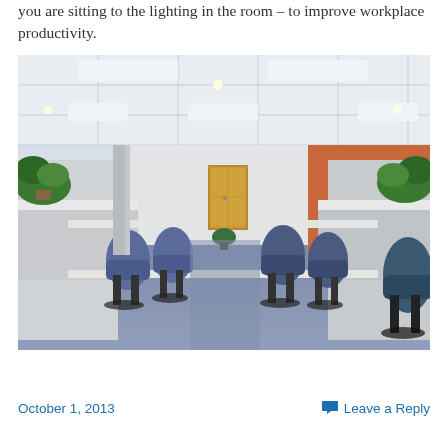you are sitting to the lighting in the room – to improve workplace productivity.
[Figure (photo): Open-plan office with rows of white cubicle workstations, blue office chairs, green plants on top of partitions, blue carpet floor, white drop ceiling with fluorescent lighting panels, wood-colored door in background, orange accent wall, and a small potted plant in the center aisle.]
October 1, 2013
Leave a Reply